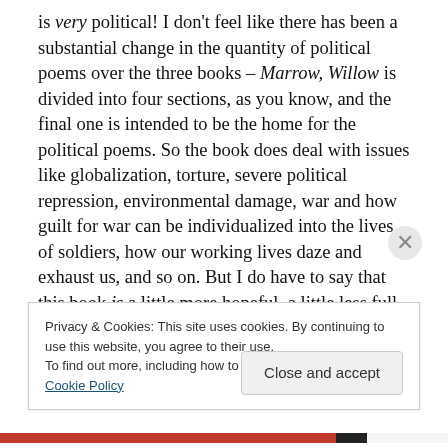is very political! I don't feel like there has been a substantial change in the quantity of political poems over the three books – Marrow, Willow is divided into four sections, as you know, and the final one is intended to be the home for the political poems. So the book does deal with issues like globalization, torture, severe political repression, environmental damage, war and how guilt for war can be individualized into the lives of soldiers, how our working lives daze and exhaust us, and so on. But I do have to say that this book is a little more hopeful, a little less full of dread because of the new and sustaining love
Privacy & Cookies: This site uses cookies. By continuing to use this website, you agree to their use.
To find out more, including how to control cookies, see here: Cookie Policy